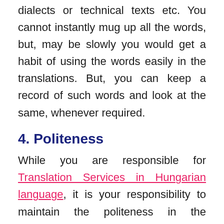dialects or technical texts etc. You cannot instantly mug up all the words, but, may be slowly you would get a habit of using the words easily in the translations. But, you can keep a record of such words and look at the same, whenever required.
4. Politeness
While you are responsible for Translation Services in Hungarian language, it is your responsibility to maintain the politeness in the translation, i.e. the tone. In Hungarian language, there are four levels of expressing politeness, viz. Ön, Te, Maga